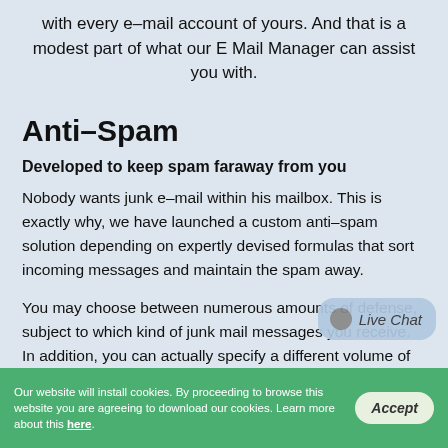with every e–mail account of yours. And that is a modest part of what our E Mail Manager can assist you with.
Anti–Spam
Developed to keep spam faraway from you
Nobody wants junk e–mail within his mailbox. This is exactly why, we have launched a custom anti–spam solution depending on expertly devised formulas that sort incoming messages and maintain the spam away.
You may choose between numerous amounts of defense, subject to which kind of junk mail messages you receive. In addition, you can actually specify a different volume of
Our website will install cookies. By proceeding to browse this website you are agreeing to download our cookies. Learn more about this here.